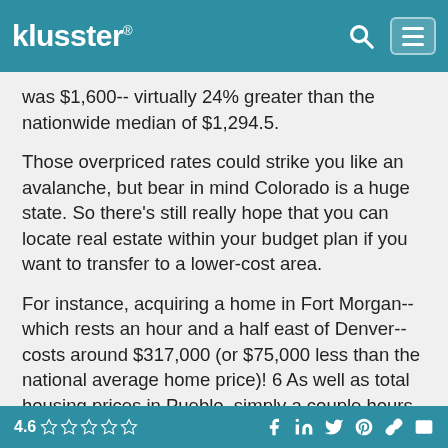klusster®
was $1,600-- virtually 24% greater than the nationwide median of $1,294.5.
Those overpriced rates could strike you like an avalanche, but bear in mind Colorado is a huge state. So there's still really hope that you can locate real estate within your budget plan if you want to transfer to a lower-cost area.
For instance, acquiring a home in Fort Morgan-- which rests an hour and a half east of Denver-- costs around $317,000 (or $75,000 less than the national average home price)! 6 As well as total housing prices in Pueblo, simply a couple hours southern of Denver, are 11% lower than the typical U.S. city.7.
4.6 ☆☆☆☆☆